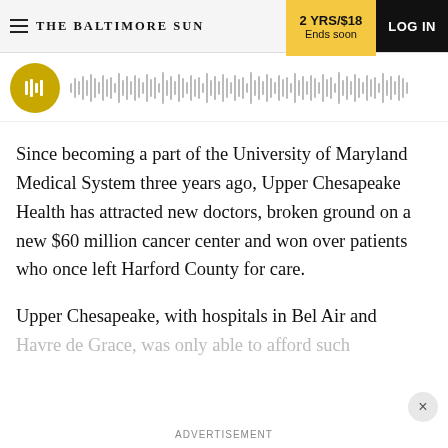THE BALTIMORE SUN | 2 YRS/$18 Ends soon | LOG IN
[Figure (other): Audio player with gold circle icon and waveform visualization]
Since becoming a part of the University of Maryland Medical System three years ago, Upper Chesapeake Health has attracted new doctors, broken ground on a new $60 million cancer center and won over patients who once left Harford County for care.
Upper Chesapeake, with hospitals in Bel Air and Havre de Grace, was only able to afford such
ADVERTISEMENT